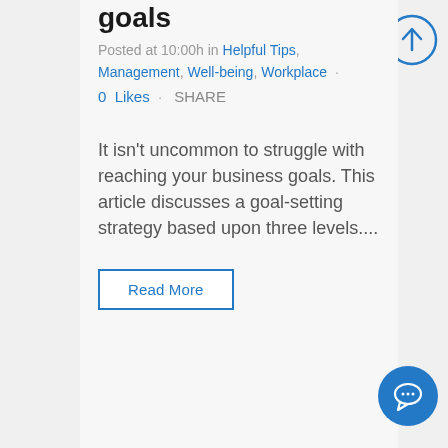goals
Posted at 10:00h in Helpful Tips, Management, Well-being, Workplace · 0 Likes · SHARE
It isn't uncommon to struggle with reaching your business goals. This article discusses a goal-setting strategy based upon three levels....
Read More